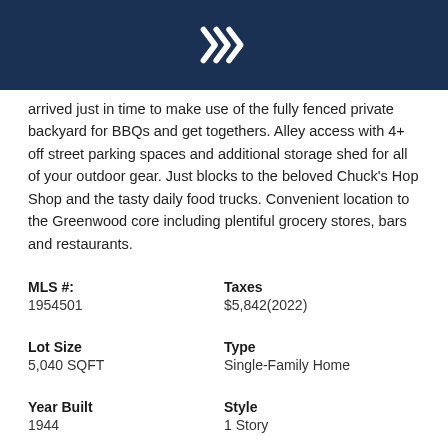[Logo: Windermere Real Estate]
arrived just in time to make use of the fully fenced private backyard for BBQs and get togethers. Alley access with 4+ off street parking spaces and additional storage shed for all of your outdoor gear. Just blocks to the beloved Chuck's Hop Shop and the tasty daily food trucks. Convenient location to the Greenwood core including plentiful grocery stores, bars and restaurants.
MLS #:
1954501
Taxes
$5,842(2022)
Lot Size
5,040 SQFT
Type
Single-Family Home
Year Built
1944
Style
1 Story
Views
School District